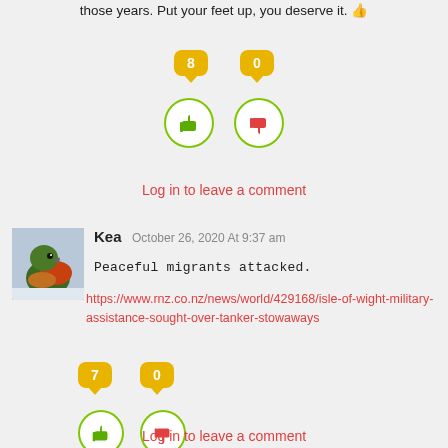those years. Put your feet up, you deserve it. 👍
[Figure (infographic): Vote buttons: thumbs up with badge '8', thumbs down with badge '0', both in green circles]
Log in to leave a comment
[Figure (photo): Avatar image of a colorful bird (kea parrot)]
Kea October 26, 2020 At 9:37 am
Peaceful migrants attacked.
https://www.rnz.co.nz/news/world/429168/isle-of-wight-military-assistance-sought-over-tanker-stowaways
[Figure (infographic): Vote buttons: thumbs up with badge '7', thumbs down with badge '0', both in green circles]
Log in to leave a comment